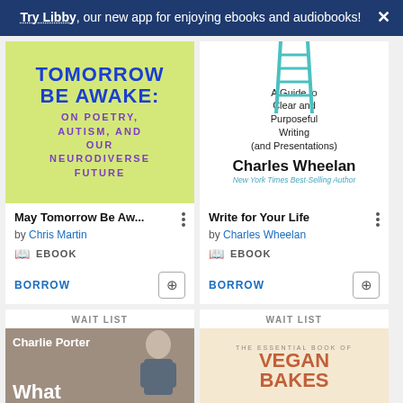Try Libby, our new app for enjoying ebooks and audiobooks!
[Figure (screenshot): Book cover for 'May Tomorrow Be Awake: On Poetry, Autism, and Our Neurodiverse Future' — yellow-green background with blue and purple text]
May Tomorrow Be Aw...
by Chris Martin
EBOOK
BORROW
[Figure (screenshot): Book cover for 'Write for Your Life: A Guide to Clear and Purposeful Writing (and Presentations)' by Charles Wheelan, white background with teal ladder graphic]
Write for Your Life
by Charles Wheelan
EBOOK
BORROW
WAIT LIST
[Figure (photo): Book cover for a book by Charlie Porter showing a person with dark hair and glasses against a grey background, with 'What' visible at bottom]
WAIT LIST
[Figure (photo): Book cover for 'The Essential Book of Vegan Bakes' with orange/terracotta text on light background]